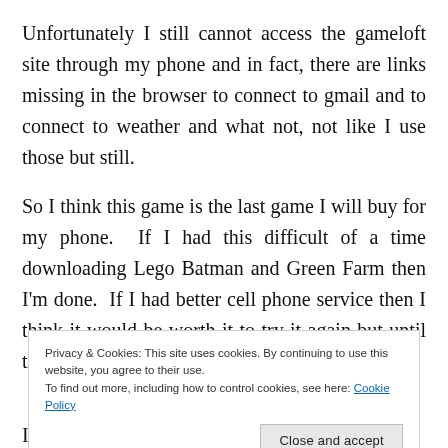Unfortunately I still cannot access the gameloft site through my phone and in fact, there are links missing in the browser to connect to gmail and to connect to weather and what not, not like I use those but still.
So I think this game is the last game I will buy for my phone.  If I had this difficult of a time downloading Lego Batman and Green Farm then I'm done.  If I had better cell phone service then I think it would be worth it to try it again but until that day comes I think I'll just
Privacy & Cookies: This site uses cookies. By continuing to use this website, you agree to their use.
To find out more, including how to control cookies, see here: Cookie Policy
I don't blame GameLoft, heck I don't even blame my